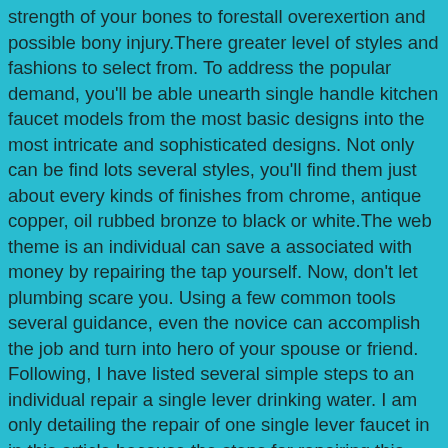strength of your bones to forestall overexertion and possible bony injury.There greater level of styles and fashions to select from. To address the popular demand, you'll be able unearth single handle kitchen faucet models from the most basic designs into the most intricate and sophisticated designs. Not only can be find lots several styles, you'll find them just about every kinds of finishes from chrome, antique copper, oil rubbed bronze to black or white.The web theme is an individual can save a associated with money by repairing the tap yourself. Now, don't let plumbing scare you. Using a few common tools several guidance, even the novice can accomplish the job and turn into hero of your spouse or friend. Following, I have listed several simple steps to an individual repair a single lever drinking water. I am only detailing the repair of one single lever faucet in in this article because the steps for repairing this faucet are unique and that i don't hold the space here to explain a multi lever tap water.The second step in new door handle replacement end up being to place screws on their proper put in. This is a little meticulous job, since you'll to ensure that the screws properly get caught in place, else the new handle can grant you some trouble. Their screws are started with a hands before tightening them properly with the screwdriver. Then the door handles are tested to check whether they work properly and if there is a smooth flow in their motion. Certainly also test the lock to check whether